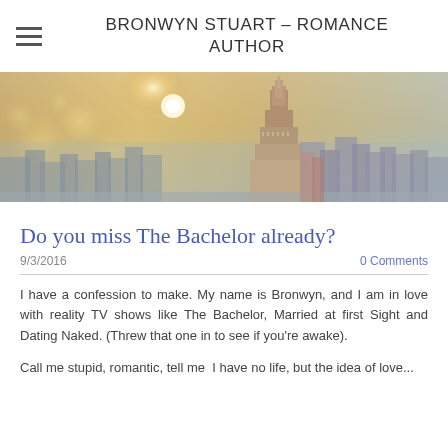BRONWYN STUART – ROMANCE AUTHOR
[Figure (photo): Wide banner image of a New York City skyline with a warm golden-hazy sky and the Empire State Building prominent in the center-right.]
Do you miss The Bachelor already?
9/3/2016
0 Comments
I have a confession to make. My name is Bronwyn, and I am in love with reality TV shows like The Bachelor, Married at first Sight and Dating Naked. (Threw that one in to see if you're awake).
Call me stupid, romantic, tell me I have no life, but the idea of love...